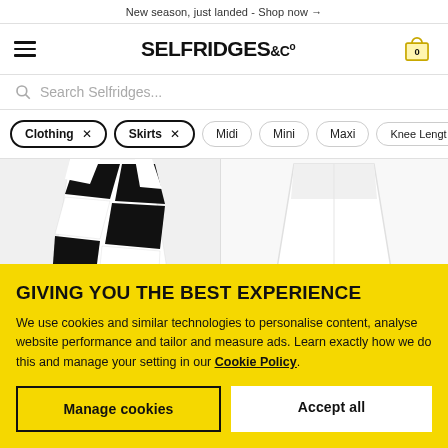New season, just landed - Shop now →
[Figure (logo): Selfridges & Co logo with hamburger menu icon and shopping bag icon showing 0 items]
Search Selfridges...
Clothing ×
Skirts ×
Midi
Mini
Maxi
Knee Length
[Figure (photo): Two product images: left shows a black and white geometric patterned skirt, right shows a plain white skirt/shorts]
GIVING YOU THE BEST EXPERIENCE
We use cookies and similar technologies to personalise content, analyse website performance and tailor and measure ads. Learn exactly how we do this and manage your setting in our Cookie Policy.
Manage cookies
Accept all